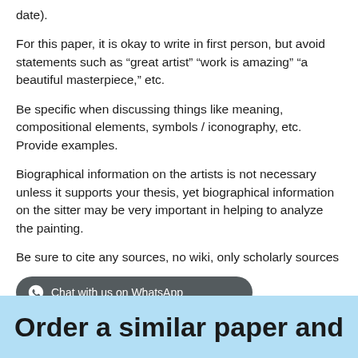date).
For this paper, it is okay to write in first person, but avoid statements such as “great artist” “work is amazing” “a beautiful masterpiece,” etc.
Be specific when discussing things like meaning, compositional elements, symbols / iconography, etc. Provide examples.
Biographical information on the artists is not necessary unless it supports your thesis, yet biographical information on the sitter may be very important in helping to analyze the painting.
Be sure to cite any sources, no wiki, only scholarly sources
[Figure (screenshot): WhatsApp chat button overlay and a light blue banner at the bottom reading 'Order a similar paper and get 15% discount']